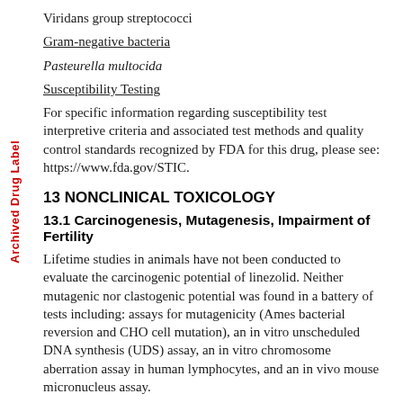Archived Drug Label
Viridans group streptococci
Gram-negative bacteria
Pasteurella multocida
Susceptibility Testing
For specific information regarding susceptibility test interpretive criteria and associated test methods and quality control standards recognized by FDA for this drug, please see: https://www.fda.gov/STIC.
13 NONCLINICAL TOXICOLOGY
13.1 Carcinogenesis, Mutagenesis, Impairment of Fertility
Lifetime studies in animals have not been conducted to evaluate the carcinogenic potential of linezolid. Neither mutagenic nor clastogenic potential was found in a battery of tests including: assays for mutagenicity (Ames bacterial reversion and CHO cell mutation), an in vitro unscheduled DNA synthesis (UDS) assay, an in vitro chromosome aberration assay in human lymphocytes, and an in vivo mouse micronucleus assay.
Linezolid did not affect the fertility or reproductive